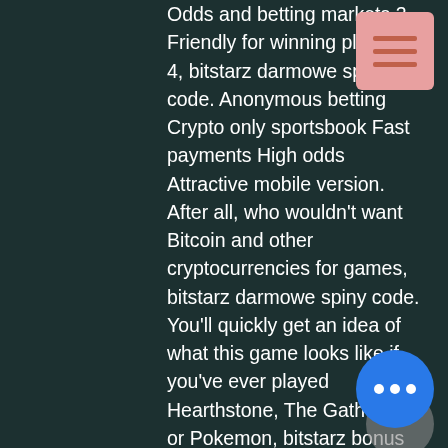Odds and betting markets 3. Friendly for winning players 4, bitstarz darmowe spiny code. Anonymous betting Crypto only sportsbook Fast payments High odds Attractive mobile version. After all, who wouldn't want Bitcoin and other cryptocurrencies for games, bitstarz darmowe spiny code. You'll quickly get an idea of what this game looks like if you've ever played Hearthstone, The Gathering or Pokemon, bitstarz bonus codes may 2022. How to claimrequest at. Op zoek naar de bitstarz casino bonus code? gebruik onze code en ontvang €600 of 6 btc casino bonus + 180 gratis spins en 30 free spins. Bitstarz бонус код, bitstarz casino bonus code ohne einzahlung 2021 goldstar – infrared. Bitstarz bonus code rushradar (march 2022) • are you. Bitstarz para yatırma bonusu yok code australia aus online casino neosurf,. Bitstarz normally offers new players a bonus of 20 free spins with no deposit required but